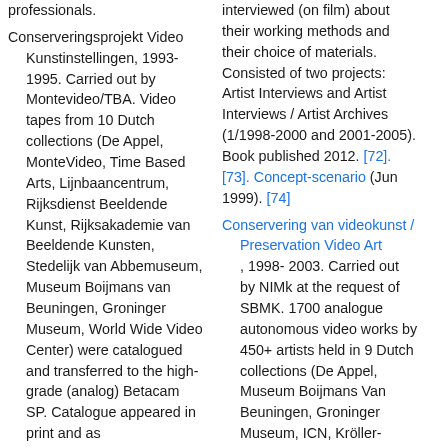professionals.
Conserveringsprojekt Video Kunstinstellingen, 1993-1995. Carried out by Montevideo/TBA. Video tapes from 10 Dutch collections (De Appel, MonteVideo, Time Based Arts, Lijnbaancentrum, Rijksdienst Beeldende Kunst, Rijksakademie van Beeldende Kunsten, Stedelijk van Abbemuseum, Museum Boijmans van Beuningen, Groninger Museum, World Wide Video Center) were catalogued and transferred to the high-grade (analog) Betacam SP. Catalogue appeared in print and as
interviewed (on film) about their working methods and their choice of materials. Consisted of two projects: Artist Interviews and Artist Interviews / Artist Archives (1/1998-2000 and 2001-2005). Book published 2012. [72]. [73]. Concept-scenario (Jun 1999). [74]
Conservering van videokunst / Preservation Video Art, 1998-2003. Carried out by NIMk at the request of SBMK. 1700 analogue autonomous video works by 450+ artists held in 9 Dutch collections (De Appel, Museum Boijmans Van Beuningen, Groninger Museum, ICN, Kröller-Müller